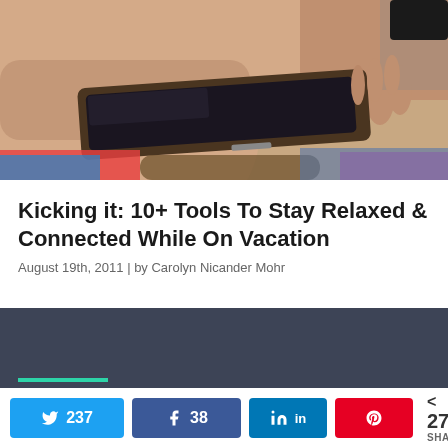[Figure (photo): Person using a tablet device, hands visible on screen, vacation/travel items below including sunglasses and books]
Kicking it: 10+ Tools To Stay Relaxed & Connected While On Vacation
August 19th, 2011 | by Carolyn Nicander Mohr
[Figure (screenshot): Dark blue-grey section with a teal/green horizontal line at the bottom]
237 (Twitter shares) | 38 (Facebook shares) | LinkedIn share | Pinterest share | < 275 SHARES